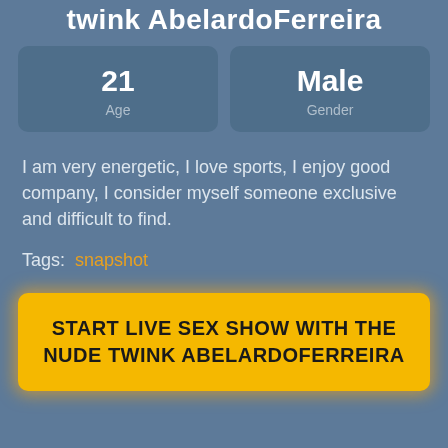twink AbelardoFerreira
| Value | Label |
| --- | --- |
| 21 | Age |
| Male | Gender |
I am very energetic, I love sports, I enjoy good company, I consider myself someone exclusive and difficult to find.
Tags:  snapshot
START LIVE SEX SHOW WITH THE NUDE TWINK ABELARDOFERREIRA